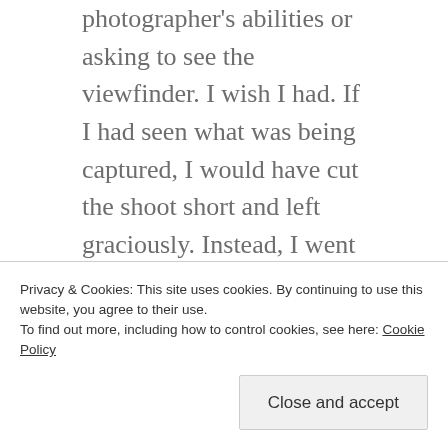photographer's abilities or asking to see the viewfinder. I wish I had. If I had seen what was being captured, I would have cut the shoot short and left graciously. Instead, I went through the entire shoot, gathered my things, and headed over to a CVS to look at the images and print out some proofs.

The instant I saw the first image, I was stunned. Who was that wide-nosed, unattractive woman staring back at me? It honestly didn't even look like me. My face looked FAT, there were wrinkles on my face in weird places, and I just did NOT look good at all. The lighting
Privacy & Cookies: This site uses cookies. By continuing to use this website, you agree to their use.
To find out more, including how to control cookies, see here: Cookie Policy
Close and accept